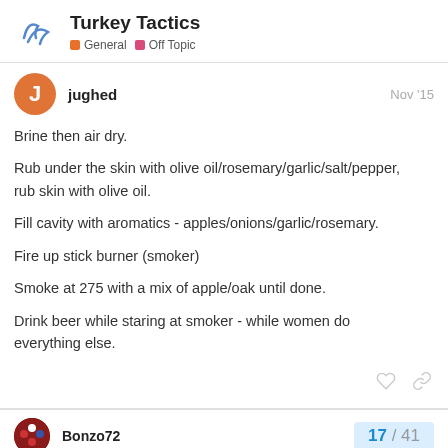Turkey Tactics — General, Off Topic
jughed — Nov '15
Brine then air dry.
Rub under the skin with olive oil/rosemary/garlic/salt/pepper, rub skin with olive oil.
Fill cavity with aromatics - apples/onions/garlic/rosemary.
Fire up stick burner (smoker)
Smoke at 275 with a mix of apple/oak until done.
Drink beer while staring at smoker - while women do everything else.
Bonzo72 — 17 / 41